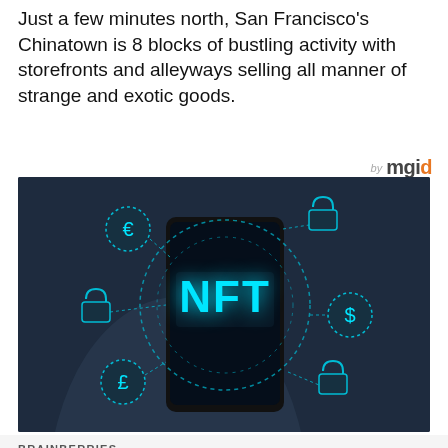Just a few minutes north, San Francisco's Chinatown is 8 blocks of bustling activity with storefronts and alleyways selling all manner of strange and exotic goods.
[Figure (photo): A hand holding a smartphone displaying the glowing text 'NFT' with digital currency symbols (€, £, $) and lock icons connected by dotted lines around the phone, on a dark blue background.]
BRAINBERRIES
What Exactly Are NFTs? A Guide To Non-fungible Tokens